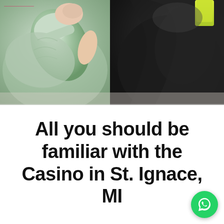[Figure (photo): Two people in athletic/casual wear: left person in sage green hoodie with raised fist/elbow, right person in dark black athletic outfit with yellow-green accent detail. Appears to be a fitness or lifestyle context.]
All you should be familiar with the Casino in St. Ignace, MI